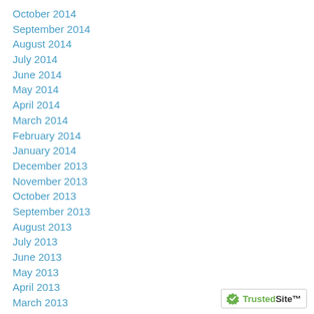October 2014
September 2014
August 2014
July 2014
June 2014
May 2014
April 2014
March 2014
February 2014
January 2014
December 2013
November 2013
October 2013
September 2013
August 2013
July 2013
June 2013
May 2013
April 2013
March 2013
[Figure (logo): TrustedSite badge with green checkmark]